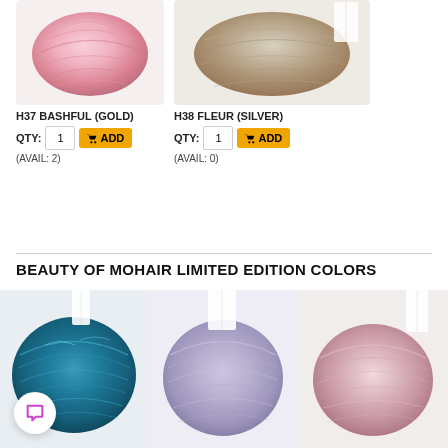[Figure (photo): Skein of pink mohair yarn labeled H37 BASHFUL (GOLD)]
[Figure (photo): Skein of beige/taupe mohair yarn labeled H38 FLEUR (SILVER)]
H37 BASHFUL (GOLD)
QTY: 1  ADD
(AVAIL: 2)
H38 FLEUR (SILVER)
QTY: 1  ADD
(AVAIL: 0)
BEAUTY OF MOHAIR LIMITED EDITION COLORS
[Figure (photo): Skein of teal/blue mohair yarn]
[Figure (photo): Skein of lavender/purple mohair yarn]
[Figure (photo): Skein of rose/pink mohair yarn]